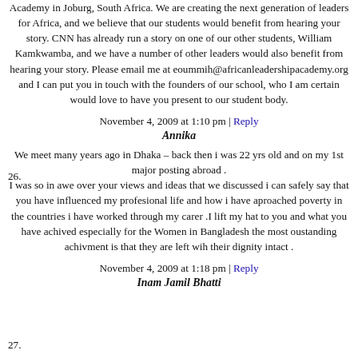Academy in Joburg, South Africa. We are creating the next generation of leaders for Africa, and we believe that our students would benefit from hearing your story. CNN has already run a story on one of our other students, William Kamkwamba, and we have a number of other leaders would also benefit from hearing your story. Please email me at eoummih@africanleadershipacademy.org and I can put you in touch with the founders of our school, who I am certain would love to have you present to our student body.
November 4, 2009 at 1:10 pm | Reply
26.
Annika
We meet many years ago in Dhaka – back then i was 22 yrs old and on my 1st major posting abroad . I was so in awe over your views and ideas that we discussed i can safely say that you have influenced my profesional life and how i have aproached poverty in the countries i have worked through my carer .I lift my hat to you and what you have achived especially for the Women in Bangladesh the most oustanding achivment is that they are left wih their dignity intact .
November 4, 2009 at 1:18 pm | Reply
27.
Inam Jamil Bhatti